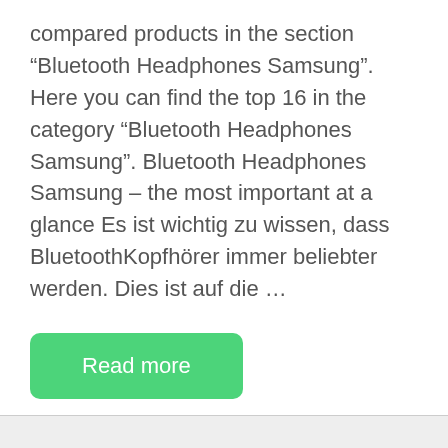compared products in the section “Bluetooth Headphones Samsung”. Here you can find the top 16 in the category “Bluetooth Headphones Samsung”. Bluetooth Headphones Samsung – the most important at a glance Es ist wichtig zu wissen, dass BluetoothKopfhörer immer beliebter werden. Dies ist auf die …
Read more
Samsung Bluetooth Headsets